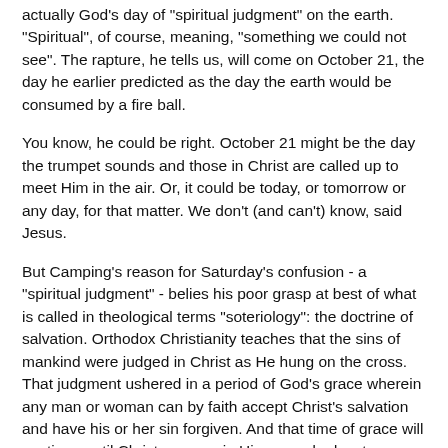actually God's day of "spiritual judgment" on the earth. "Spiritual", of course, meaning, "something we could not see". The rapture, he tells us, will come on October 21, the day he earlier predicted as the day the earth would be consumed by a fire ball.
You know, he could be right. October 21 might be the day the trumpet sounds and those in Christ are called up to meet Him in the air. Or, it could be today, or tomorrow or any day, for that matter. We don't (and can't) know, said Jesus.
But Camping's reason for Saturday's confusion - a "spiritual judgment" - belies his poor grasp at best of what is called in theological terms "soteriology": the doctrine of salvation. Orthodox Christianity teaches that the sins of mankind were judged in Christ as He hung on the cross. That judgment ushered in a period of God's grace wherein any man or woman can by faith accept Christ's salvation and have his or her sin forgiven. And that time of grace will continue until Christ appears in His second advent.
Now, if Jesus didn't return Saturday, that means we still live